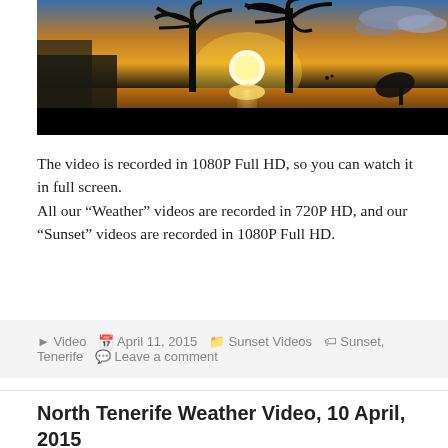[Figure (photo): Sunset photo showing palm trees silhouetted against a bright golden sun setting over the ocean, with clouds in the sky and buildings visible on the left]
The video is recorded in 1080P Full HD, so you can watch it in full screen.
All our “Weather” videos are recorded in 720P HD, and our “Sunset” videos are recorded in 1080P Full HD.
▶ Video  📅 April 11, 2015  🗂 Sunset Videos  🏷 Sunset, Tenerife  💬 Leave a comment
North Tenerife Weather Video, 10 April, 2015